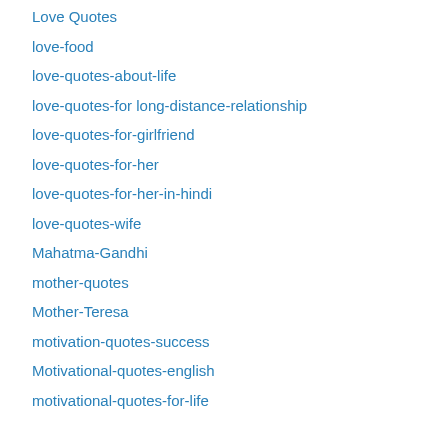Love Quotes
love-food
love-quotes-about-life
love-quotes-for long-distance-relationship
love-quotes-for-girlfriend
love-quotes-for-her
love-quotes-for-her-in-hindi
love-quotes-wife
Mahatma-Gandhi
mother-quotes
Mother-Teresa
motivation-quotes-success
Motivational-quotes-english
motivational-quotes-for-life